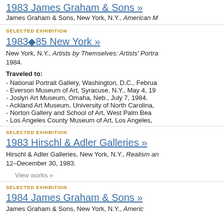1983 James Graham & Sons »
James Graham & Sons, New York, N.Y., American M
SELECTED EXHIBITION
1983–85 New York »
New York, N.Y., Artists by Themselves: Artists' Portra… 1984.
Traveled to:
- National Portrait Gallery, Washington, D.C., Februa
- Everson Museum of Art, Syracuse, N.Y., May 4, 19
- Joslyn Art Museum, Omaha, Neb., July 7, 1984.
- Ackland Art Museum, University of North Carolina,
- Norton Gallery and School of Art, West Palm Bea
- Los Angeles County Museum of Art, Los Angeles,
SELECTED EXHIBITION
1983 Hirschl & Adler Galleries »
Hirschl & Adler Galleries, New York, N.Y., Realism an… 12–December 30, 1983.
View works »
SELECTED EXHIBITION
1984 James Graham & Sons »
James Graham & Sons, New York, N.Y., Americ…